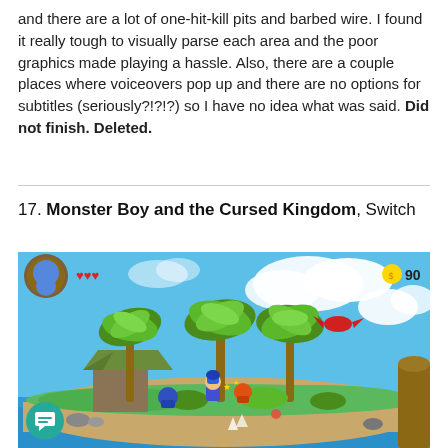and there are a lot of one-hit-kill pits and barbed wire. I found it really tough to visually parse each area and the poor graphics made playing a hassle. Also, there are a couple places where voiceovers pop up and there are no options for subtitles (seriously?!?!?) so I have no idea what was said. Did not finish. Deleted.
17. Monster Boy and the Cursed Kingdom, Switch
[Figure (screenshot): Screenshot from Monster Boy and the Cursed Kingdom video game showing a colorful tropical island scene with palm trees, a small hut, blue-haired character, enemy characters, blue sky with clouds, and a red bird. HUD shows health hearts and coin count of 90.]